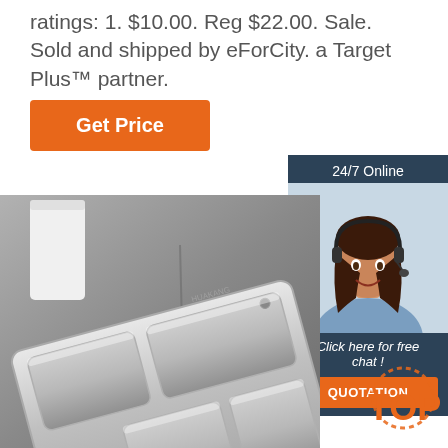ratings: 1. $10.00. Reg $22.00. Sale. Sold and shipped by eForCity. a Target Plus™ partner.
[Figure (other): Orange 'Get Price' button]
[Figure (other): 24/7 Online chat widget with female support agent photo, 'Click here for free chat!' text, and orange QUOTATION button]
[Figure (photo): Product photo of a stainless steel divided food tray/lunch tray with multiple compartments, on a gray surface with a white cup in the background]
[Figure (logo): TOP badge logo in bottom right corner]